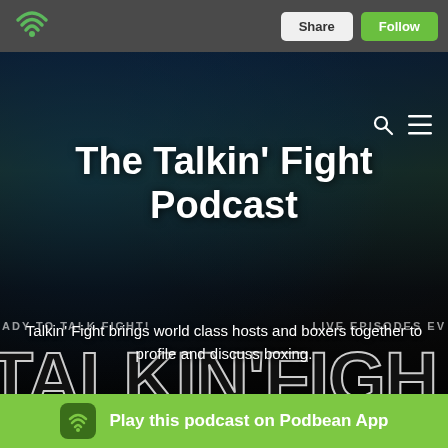Podbean navigation bar with logo, Share and Follow buttons
The Talkin' Fight Podcast
Talkin' Fight brings world class hosts and boxers together to profile and discuss boxing.
Listen on:
[Figure (screenshot): Platform podcast icons row including Amazon and others]
Play this podcast on Podbean App